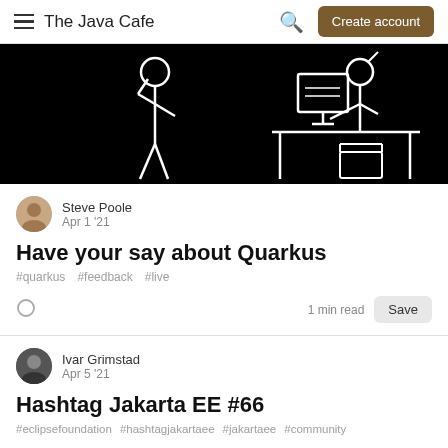The Java Cafe
[Figure (illustration): Black background banner with white stick figure drawings: a person standing on the left and a person sitting at a desk with a computer on the right]
Steve Poole
Apr 1 '21
Have your say about Quarkus
#quarkus  #feedback  #live
1 min read
Ivar Grimstad
Apr 5 '21
Hashtag Jakarta EE #66
#eclipsefoundation  #hashtagjakartaee  #jakartaee  #community